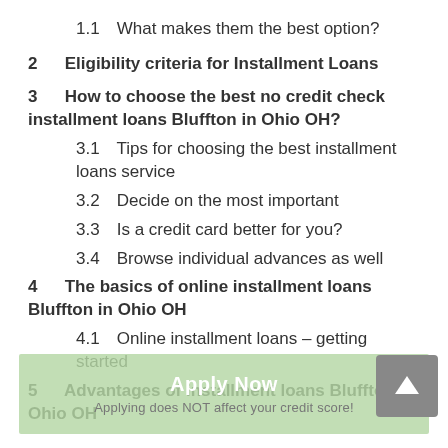1.1  What makes them the best option?
2  Eligibility criteria for Installment Loans
3  How to choose the best no credit check installment loans Bluffton in Ohio OH?
3.1  Tips for choosing the best installment loans service
3.2  Decide on the most important
3.3  Is a credit card better for you?
3.4  Browse individual advances as well
4  The basics of online installment loans Bluffton in Ohio OH
4.1  Online installment loans – getting started
5  Advantages of installment loans Bluffton in Ohio OH